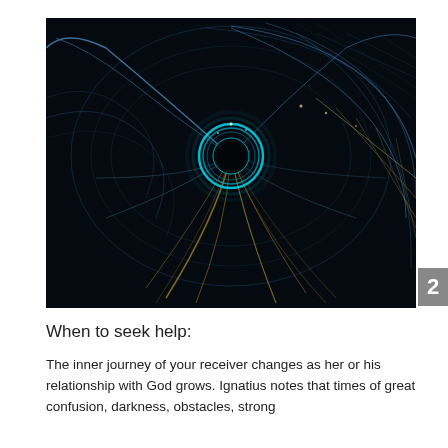[Figure (illustration): Abstract fractal art image showing swirling blue and gold light trails forming a spiral/vortex pattern with a glowing circular center, on a dark/black background.]
When to seek help:
The inner journey of your receiver changes as her or his relationship with God grows. Ignatius notes that times of great confusion, darkness, obstacles, strong